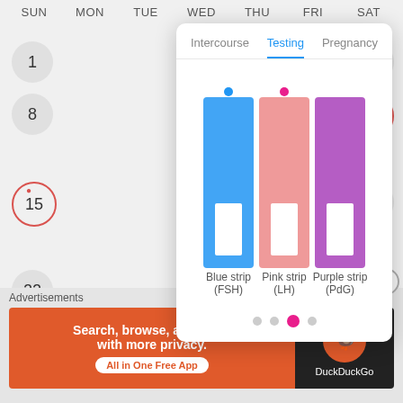SUN  MON  TUE  WED  THU  FRI  SAT
1
7
8
14
15
21
22
28
29
5
[Figure (infographic): Popup dialog showing three fertility test strip types: Blue strip (FSH), Pink strip (LH), Purple strip (PdG), with tabs: Intercourse, Testing (active), Pregnancy. Navigation dots at bottom with third dot active (pink).]
Advertisements
[Figure (screenshot): DuckDuckGo advertisement banner: 'Search, browse, and email with more privacy. All in One Free App' with DuckDuckGo logo on dark background.]